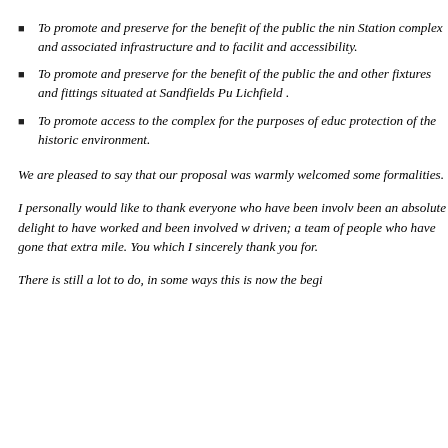To promote and preserve for the benefit of the public the nin Station complex and associated infrastructure and to facilit and accessibility.
To promote and preserve for the benefit of the public the and other fixtures and fittings situated at Sandfields Pu Lichfield .
To promote access to the complex for the purposes of educ protection of the historic environment.
We are pleased to say that our proposal was warmly welcomed some formalities.
I personally would like to thank everyone who have been involv been an absolute delight to have worked and been involved w driven; a team of people who have gone that extra mile. You which I sincerely thank you for.
There is still a lot to do, in some ways this is now the begi